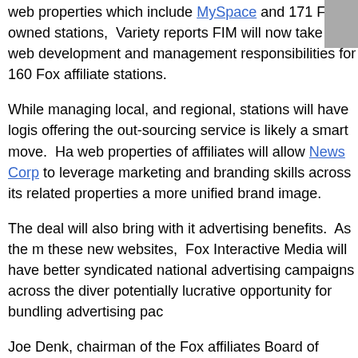web properties which include MySpace and 171 Fox owned stations, Variety reports FIM will now take on web development and management responsibilities for 160 Fox affiliate stations.
While managing local, and regional, stations will have logistics, offering the out-sourcing service is likely a smart move. Having control of web properties of affiliates will allow News Corp to leverage its internet marketing and branding skills across its related properties and promote a more unified brand image.
The deal will also bring with it advertising benefits. As the manager of these new websites, Fox Interactive Media will have better ability to run syndicated national advertising campaigns across the diverse sites and a potentially lucrative opportunity for bundling advertising packages.
Joe Denk, chairman of the Fox affiliates Board of Governors, supported the deal, stating "it is important for local affiliate stations to have quality and compelling online content and we believe the My Fox platform is the solution.
Not all Fox affiliates will participate. Fox affiliates owned by Emmis Broadcast Group, which controls sixteen Fox affiliates and multiple UPN stations, as well as some other affiliates, are still deliberating on whether to outsource website operations.